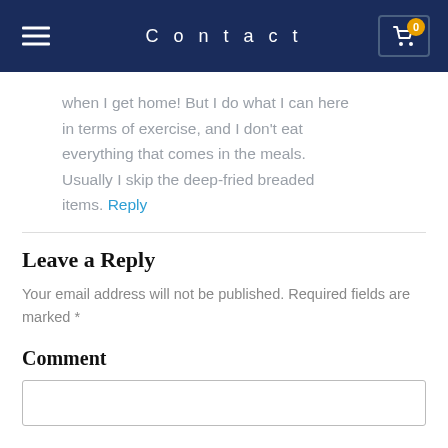Contact
when I get home! But I do what I can here in terms of exercise, and I don't eat everything that comes in the meals. Usually I skip the deep-fried breaded items. Reply
Leave a Reply
Your email address will not be published. Required fields are marked *
Comment